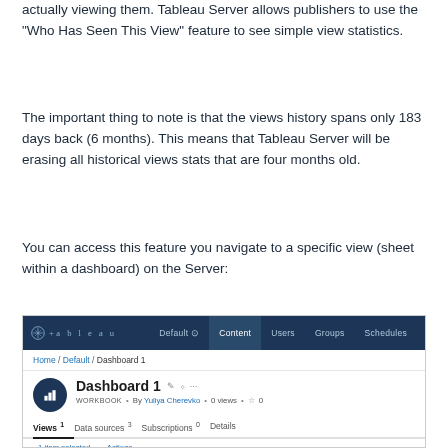actually viewing them. Tableau Server allows publishers to use the "Who Has Seen This View" feature to see simple view statistics.
The important thing to note is that the views history spans only 183 days back (6 months). This means that Tableau Server will be erasing all historical views stats that are four months old.
You can access this feature you navigate to a specific view (sheet within a dashboard) on the Server:
[Figure (screenshot): Tableau Server interface showing navigation bar with Default, Content, Users, Groups, Schedules tabs. Breadcrumb shows Home / Default / Dashboard 1. Dashboard 1 workbook header with icon, title, pencil and other icons. WORKBOOK label, By Yuliya Cherevko, 0 views, star rating 0. Tabs: Views 1 (active), Data sources 3, Subscriptions 0, Details. Actions bar with 1 item selected and Actions. Table header with Name, Views (All-time), Sheet columns. Partial blue row visible at bottom.]